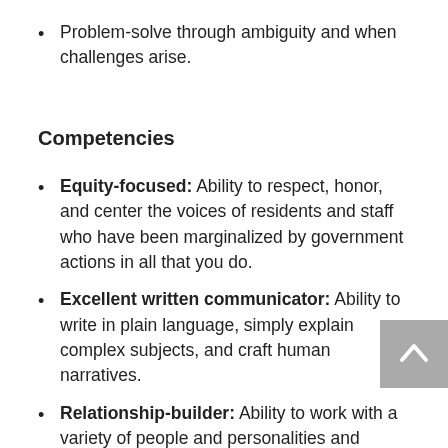Problem-solve through ambiguity and when challenges arise.
Competencies
Equity-focused: Ability to respect, honor, and center the voices of residents and staff who have been marginalized by government actions in all that you do.
Excellent written communicator: Ability to write in plain language, simply explain complex subjects, and craft human narratives.
Relationship-builder: Ability to work with a variety of people and personalities and cultivate strong relationships to ensure healthy